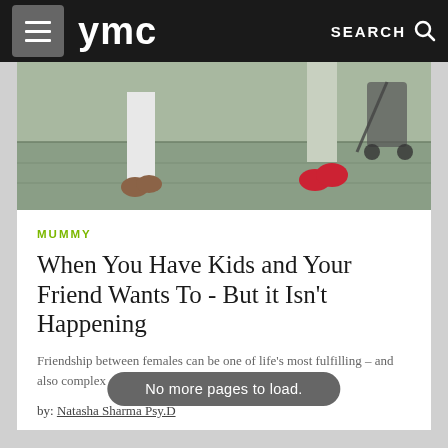ymc | SEARCH
[Figure (photo): Two people walking on a sidewalk, lower halves visible; one wearing white pants and brown shoes, the other in red sandals pushing a stroller]
MUMMY
When You Have Kids and Your Friend Wants To - But it Isn't Happening
Friendship between females can be one of life's most fulfilling – and also complex – experiences.
by: Natasha Sharma Psy.D
No more pages to load.